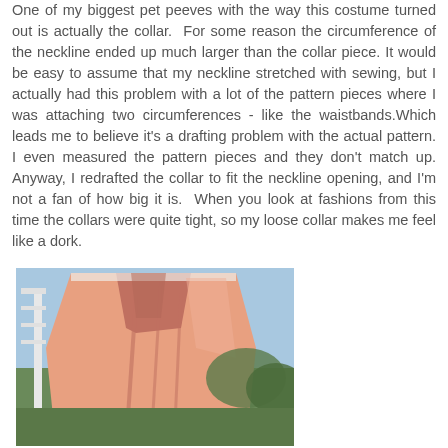One of my biggest pet peeves with the way this costume turned out is actually the collar.  For some reason the circumference of the neckline ended up much larger than the collar piece. It would be easy to assume that my neckline stretched with sewing, but I actually had this problem with a lot of the pattern pieces where I was attaching two circumferences - like the waistbands.Which leads me to believe it's a drafting problem with the actual pattern. I even measured the pattern pieces and they don't match up. Anyway, I redrafted the collar to fit the neckline opening, and I'm not a fan of how big it is.  When you look at fashions from this time the collars were quite tight, so my loose collar makes me feel like a dork.
[Figure (photo): A salmon/peach colored fabric garment (costume with a collar) hanging outdoors, with a white structure visible in the background and greenery.]